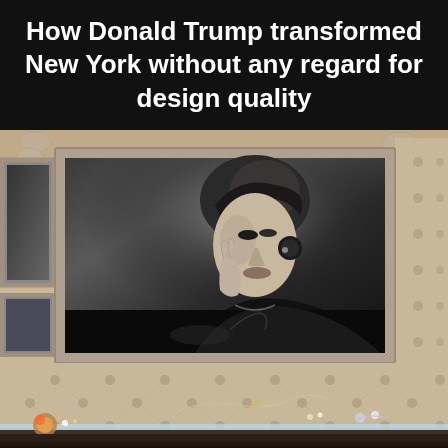How Donald Trump transformed New York without any regard for design quality
[Figure (photo): Interior of a luxury retail store or jewelry boutique featuring a tufted cream/beige upholstered wall with a large framed black-and-white portrait photograph of a woman (Ivanka Trump) wearing earrings and touching her face. Below the framed portrait is a glass jewelry display case with various jewelry pieces visible inside.]